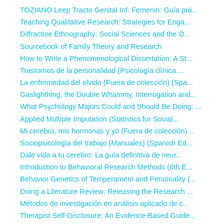TOZIANO:Leep Tracto Genital Inf. Femenin: Guía prá...
Teaching Qualitative Research: Strategies for Enga...
Diffractive Ethnography: Social Sciences and the O...
Sourcebook of Family Theory and Research
How to Write a Phenomenological Dissertation: A St...
Trastornos de la personalidad (Psicología clínica....
La enfermedad del olvido (Fuera de colección) (Spa...
Gaslighthing, the Double Whammy, Interrogation and...
What Psychology Majors Could and Should Be Doing: ...
Applied Multiple Imputation (Statistics for Social...
Mi cerebro, mis hormonas y yo (Fuera de colección)...
Sociopsicología del trabajo (Manuales) (Spanish Ed...
Dale vida a tu cerebro: La guía definitiva de neur...
Introduction to Behavioral Research Methods (6th E...
Behavior Genetics of Temperament and Personality (...
Doing a Literature Review: Releasing the Research ...
Métodos de investigación en análisis aplicado de c...
Therapist Self-Disclosure: An Evidence-Based Guide...